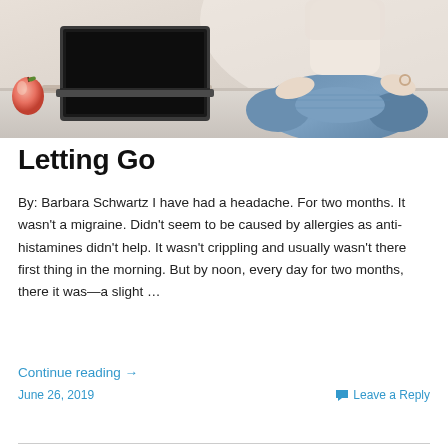[Figure (photo): Person sitting cross-legged on a desk in a meditation pose, wearing jeans, with a laptop and an apple visible on the desk. Light background.]
Letting Go
By: Barbara Schwartz I have had a headache. For two months. It wasn't a migraine. Didn't seem to be caused by allergies as anti-histamines didn't help. It wasn't crippling and usually wasn't there first thing in the morning. But by noon, every day for two months, there it was—a slight …
Continue reading →
June 26, 2019
Leave a Reply